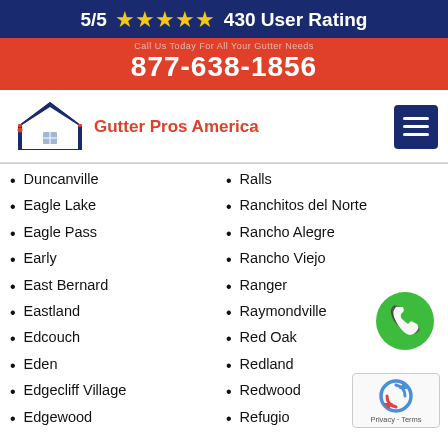5/5 ★★★★★ 430 User Rating
877-638-1856
[Figure (logo): Gutter Pros America logo with house/roof icon and red text]
Duncanville
Eagle Lake
Eagle Pass
Early
East Bernard
Eastland
Edcouch
Eden
Edgecliff Village
Edgewood
Edinburg
Edna
Eidson Road
Ralls
Ranchitos del Norte
Rancho Alegre
Rancho Viejo
Ranger
Raymondville
Red Oak
Redland
Redwood
Refugio
Rendon
Reno
Rhome